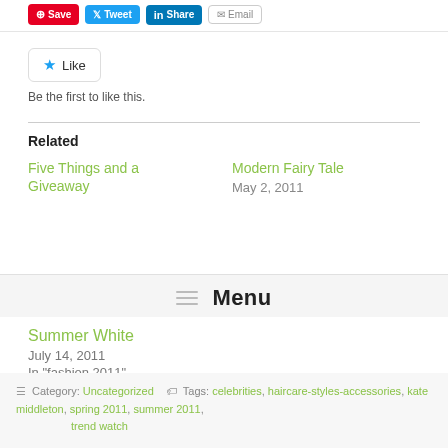[Figure (screenshot): Social share buttons: Pinterest Save (red), Twitter Tweet (blue), LinkedIn Share (blue), Email (grey outline)]
[Figure (screenshot): WordPress Like widget with star icon and Like button]
Be the first to like this.
Related
Five Things and a Giveaway
Modern Fairy Tale
May 2, 2011
Menu
Summer White
July 14, 2011
In "fashion 2011"
Category: Uncategorized   Tags: celebrities, haircare-styles-accessories, kate middleton, spring 2011, summer 2011, trend watch